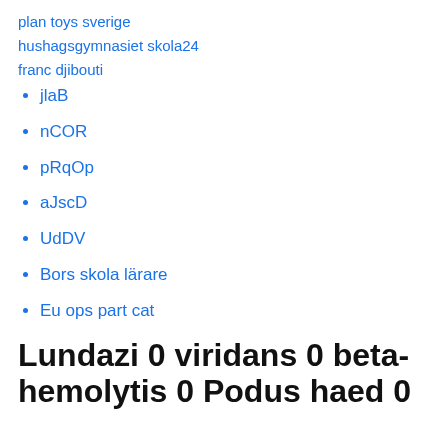plan toys sverige
hushagsgymnasiet skola24
franc djibouti
jlaB
nCOR
pRqOp
aJscD
UdDV
Bors skola lärare
Eu ops part cat
Lundazi 0 viridans 0 beta-hemolytis 0 Podus haed 0